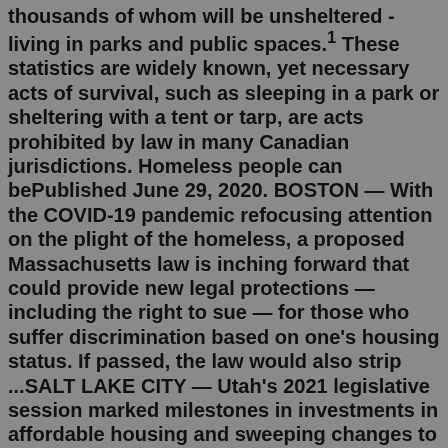thousands of whom will be unsheltered - living in parks and public spaces.1 These statistics are widely known, yet necessary acts of survival, such as sleeping in a park or sheltering with a tent or tarp, are acts prohibited by law in many Canadian jurisdictions. Homeless people can bePublished June 29, 2020. BOSTON — With the COVID-19 pandemic refocusing attention on the plight of the homeless, a proposed Massachusetts law is inching forward that could provide new legal protections — including the right to sue — for those who suffer discrimination based on one's housing status. If passed, the law would also strip ...SALT LAKE CITY — Utah's 2021 legislative session marked milestones in investments in affordable housing and sweeping changes to the homeless governance system, all meant to enact measurable improvements in two of the Beehive State's biggest issues.Jun 29, 2021 · LA City Council Seeks New Law To Prevent Encampments in Public Right-of-Way The new ordinance was presented as an alternative to "anti-camping" laws, the enforcement